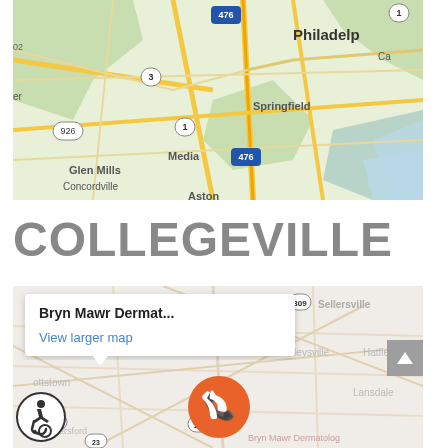[Figure (map): Google Maps view showing Philadelphia area including Glen Mills, Concordville, Media, Springfield, Aston, with highways 476, 3, 926, 1 visible and blue river on right side]
COLLEGEVILLE
[Figure (map): Google Maps view showing Collegeville/Bryn Mawr Dermatology area with popup showing 'Bryn Mawr Dermat... View larger map', and nearby areas including Sellersville, Harleysville, Hatfield, Lansdale, Royersford, with highways 309, 113, 100, 23 visible. Orange phone FAB button overlaid. Wheelchair accessibility icon bottom left. Gray scroll-up button right side.]